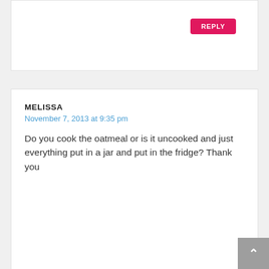[Figure (screenshot): Top comment card partially visible, showing only a REPLY button in the top right corner]
MELISSA
November 7, 2013 at 9:35 pm
Do you cook the oatmeal or is it uncooked and just everything put in a jar and put in the fridge? Thank you
MELISSA KING
November 7, 2013 at 10:02 pm
Everything is uncooked. You can quickly heat it in the morning if you like. If you use rolled oats, it will be plenty soft in the